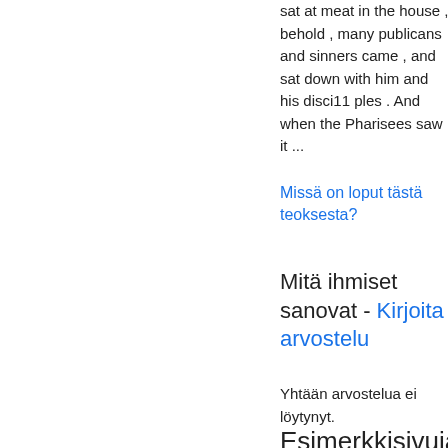sat at meat in the house , behold , many publicans and sinners came , and sat down with him and his disci11 ples . And when the Pharisees saw it ...
Seuraava »
Missä on loput tästä teoksesta?
Mitä ihmiset sanovat - Kirjoita arvostelu
Yhtään arvostelua ei löytynyt.
Esimerkkisivuja